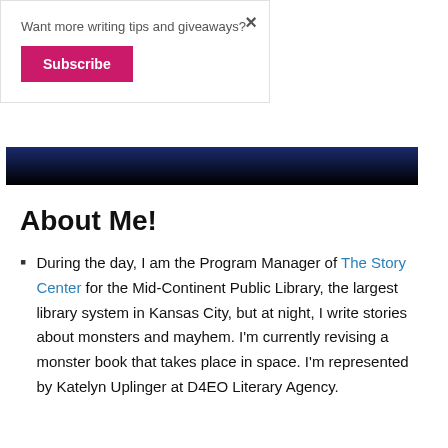Want more writing tips and giveaways?
Subscribe
[Figure (screenshot): Dark banner image, dark blue to black gradient background]
About Me!
During the day, I am the Program Manager of The Story Center for the Mid-Continent Public Library, the largest library system in Kansas City, but at night, I write stories about monsters and mayhem. I'm currently revising a monster book that takes place in space. I'm represented by Katelyn Uplinger at D4EO Literary Agency.